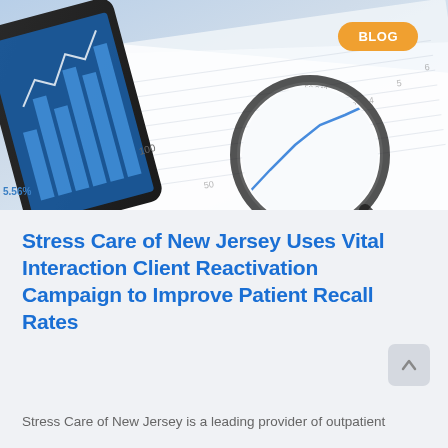[Figure (photo): Hero image showing financial charts, a tablet device, a magnifying glass, and printed spreadsheets with numerical data on a desk — representing data analytics and reporting.]
Stress Care of New Jersey Uses Vital Interaction Client Reactivation Campaign to Improve Patient Recall Rates
Stress Care of New Jersey is a leading provider of outpatient